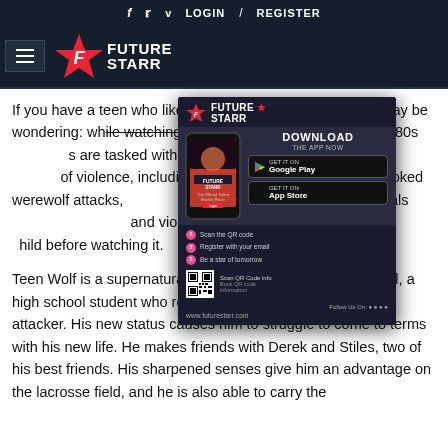f  t  v  LOGIN  /  REGISTER
[Figure (logo): Future Starr logo with hamburger menu icon]
If you have a teen who likes watching horror movies, you may be wondering: wh...wolf? The show is based on the '80s...s are tasked with transforming into ...of violence, including scenes ...also unprovoked werewolf attacks,...een humans and werewolves. It als...and violence. You should definitely c...hild before watching it.
[Figure (infographic): Future Starr app download popup ad with phone mockup, Google Play and App Store buttons, QR code steps, and website URL www.futurestarr.com]
Teen Wolf is a supernatural drama centered on Scott McCall, a high school student who receives a bite from an unknown attacker. His new status causes him to struggle to come to terms with his new life. He makes friends with Derek and Stiles, two of his best friends. His sharpened senses give him an advantage on the lacrosse field, and he is also able to carry the...